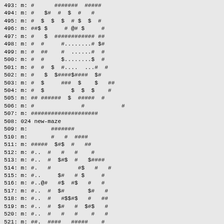493: m: #      #######  #####
494: m: #   $#  #  $  #   #
495: m: #  $  $  $  # $  $  #
496: m: ##$ $     # @# $     #
497: m: #   $  ############ ##
498: m: #  #     #........# $#
499: m: #  ##    #  ......#  #
500: m: #  #     $........$  #
501: m: #  #  $  #....  ...#  #
502: m: #   $  $####$####  $#
503: m: #  $     ###  $    $   ##
504: m: #  $        $  $  $    #
505: m: ## ######  $  #####  #
506: m: #              #           #
507: m: ####################
508: 024 new-maze
509: m:       #######
510: m:       #   #  ####
511: m: #####  $#$  #   ##
512: m: #..  #   #   #    #
513: m: #..  #  $#$  #   $####
514: m: #.   #        #$   #   #
515: m: #..     $#   # $     #
516: m: #..@#   #$  #$   #   #
517: m: #..  #  $#       $#   #
518: m: #..  #   #$$#$   #   ##
519: m: #..  #  $#   #  $#$   #
520: m: #..  #   #   #    #   #
521: m: ##.  ####   #####    #
522: m:    ####   ####     #####
523: 025 new-maze